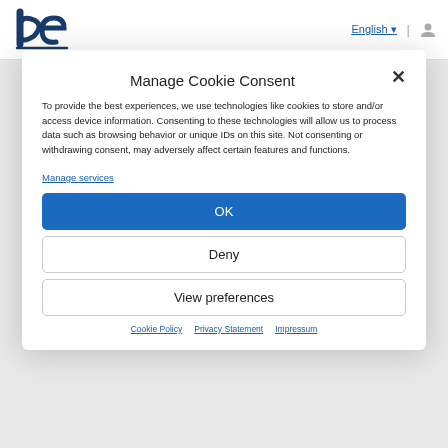English | [user icon]
[Figure (logo): Company logo with stylized 'be' letters in dark blue]
Manage Cookie Consent
To provide the best experiences, we use technologies like cookies to store and/or access device information. Consenting to these technologies will allow us to process data such as browsing behavior or unique IDs on this site. Not consenting or withdrawing consent, may adversely affect certain features and functions.
Manage services
OK
Deny
View preferences
Cookie Policy  Privacy Statement  Impressum